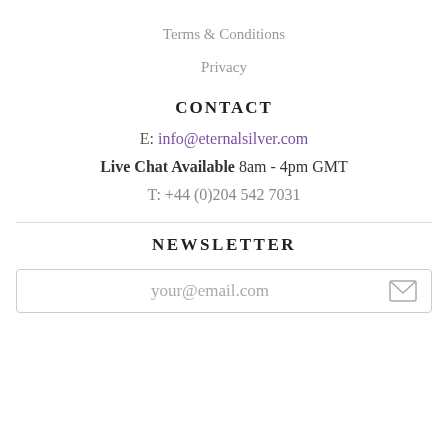Terms & Conditions
Privacy
CONTACT
E: info@eternalsilver.com
Live Chat Available 8am - 4pm GMT
T: +44 (0)204 542 7031
NEWSLETTER
your@email.com